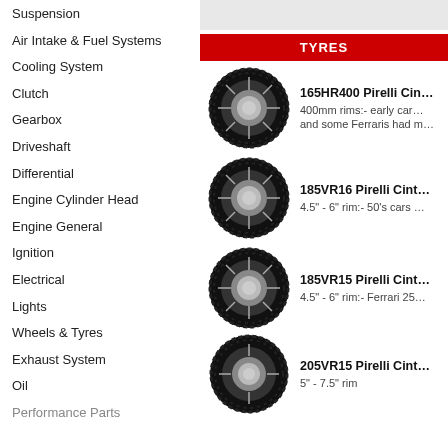Suspension
Air Intake & Fuel Systems
Cooling System
Clutch
Gearbox
Driveshaft
Differential
Engine Cylinder Head
Engine General
Ignition
Electrical
Lights
Wheels & Tyres
Exhaust System
Oil
Performance Parts
TYRES
[Figure (photo): Pirelli Cinturato tyre 165HR400 on a wire wheel]
165HR400 Pirelli Cin…
400mm rims:- early ca… and some Ferraris had m…
[Figure (photo): Pirelli Cinturato tyre 185VR16 on a wire wheel]
185VR16 Pirelli Cint…
4.5" - 6" rim:- 50's cars …
[Figure (photo): Pirelli Cinturato tyre 185VR15 on a wire wheel]
185VR15 Pirelli Cint…
4.5" - 6" rim:- Ferrari 25…
[Figure (photo): Pirelli Cinturato tyre 205VR15 on a wire wheel]
205VR15 Pirelli Cint…
5" - 7.5" rim